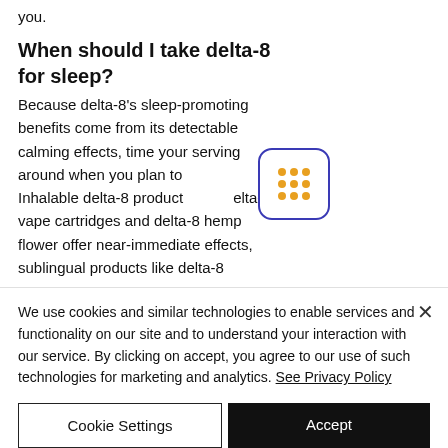you.
When should I take delta-8 for sleep?
Because delta-8's sleep-promoting benefits come from its detectable calming effects, time your serving around when you plan to go to bed. Inhalable delta-8 products like delta-8 vape cartridges and delta-8 hemp flower offer near-immediate effects, sublingual products like delta-8
[Figure (other): Grid/dots icon with orange dots in a 3x3 arrangement inside a blue rounded rectangle border]
We use cookies and similar technologies to enable services and functionality on our site and to understand your interaction with our service. By clicking on accept, you agree to our use of such technologies for marketing and analytics. See Privacy Policy
Cookie Settings
Accept